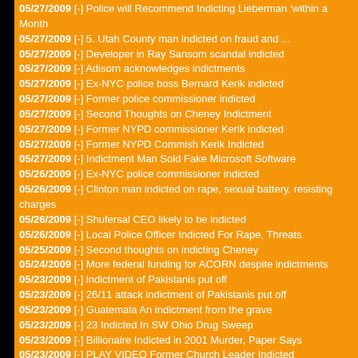05/27/2009 [-] Police will Recommend Indicting Lieberman ‘within a Month
05/27/2009 [-] 5. Utah County man indicted on fraud and ...
05/27/2009 [-] Developer in Ray Sansom scandal indicted
05/27/2009 [-] Adisorn acknowledges indictments
05/27/2009 [-] Ex-NYC police boss Bernard Kerik indicted
05/27/2009 [-] Former police commissioner indicted
05/27/2009 [-] Second Thoughts on Cheney Indictment
05/27/2009 [-] Former NYPD commissioner Kerik indicted
05/27/2009 [-] Former NYPD Commish Kerik Indicted
05/27/2009 [-] Indictment Man Sold Fake Microsoft Software
05/26/2009 [-] Ex-NYC police commissioner indicted
05/26/2009 [-] Clinton man indicted on rape, sexual battery, resisting charges
05/26/2009 [-] Shufersal CEO likely to be indicted
05/26/2009 [-] Local Police Officer Indicted For Rape, Threats
05/25/2009 [-] Second thoughts on indicting Cheney
05/24/2009 [-] More federal funding for ACORN despite indictments
05/23/2009 [-] indictment of Pakistanis put off
05/23/2009 [-] 26/11 attack indictment of Pakistanis put off
05/23/2009 [-] Guatemala An indictment from the grave
05/23/2009 [-] 23 Indicted In SW Ohio Drug Sweep
05/23/2009 [-] Billionaire Indicted in 2001 Murder, Paper Says
05/23/2009 [-] PLAY VIDEO Former Church Leader Indicted
05/23/2009 [-] Miss. man indicted for Facebook threat
05/22/2009 [-] Former WSU QB Leaf indicted on drug, burglary charges
05/22/2009 [-] Bolar expected to be indicted today
05/22/2009 [-] Tennis star's father indicted
05/22/2009 [-] Man indicted for crash that killed White River man